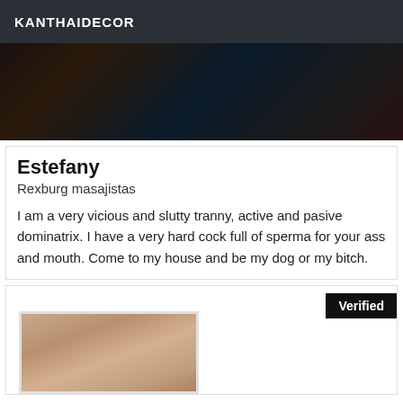KANTHAIDECOR
[Figure (photo): Partial photo of a person, dark background with colorful objects]
Estefany
Rexburg masajistas
I am a very vicious and slutty tranny, active and pasive dominatrix. I have a very hard cock full of sperma for your ass and mouth. Come to my house and be my dog or my bitch.
[Figure (photo): Close-up photo of a person's face, with Verified badge overlay]